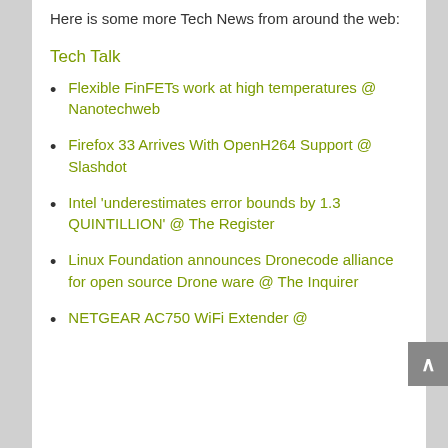Here is some more Tech News from around the web:
Tech Talk
Flexible FinFETs work at high temperatures @ Nanotechweb
Firefox 33 Arrives With OpenH264 Support @ Slashdot
Intel 'underestimates error bounds by 1.3 QUINTILLION' @ The Register
Linux Foundation announces Dronecode alliance for open source Drone ware @ The Inquirer
NETGEAR AC750 WiFi Extender @